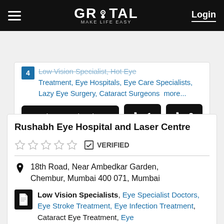GROTAL - MAKE LIFE EASY | Login
Low Vision Specialists, Hot Eye Treatment, Eye Hospitals, Eye Care Specialists, Lazy Eye Surgery, Cataract Surgeons more... Write Query/Review [Phone 1] [Phone 2]
Rushabh Eye Hospital and Laser Centre
★★★★★ VERIFIED
18th Road, Near Ambedkar Garden, Chembur, Mumbai 400 071, Mumbai
Low Vision Specialists, Eye Specialist Doctors, Eye Stroke Treatment, Eye Infection Treatment, Cataract Eye Treatment, Eye